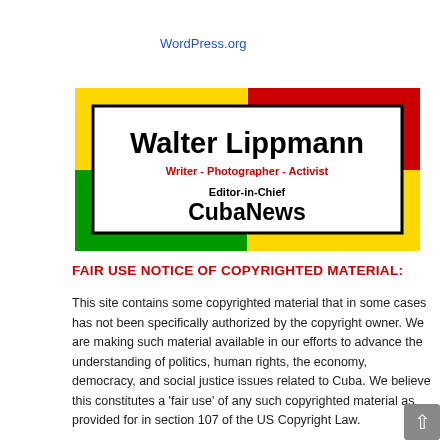WordPress.org
Privacy Policy
[Figure (other): Walter Lippmann banner card with colorful border (yellow, red, green). Inner white area shows name 'Walter Lippmann', subtitle 'Writer - Photographer - Activist', role 'Editor-in-Chief', publication 'CubaNews'.]
FAIR USE NOTICE OF COPYRIGHTED MATERIAL:
This site contains some copyrighted material that in some cases has not been specifically authorized by the copyright owner. We are making such material available in our efforts to advance the understanding of politics, human rights, the economy, democracy, and social justice issues related to Cuba. We believe this constitutes a 'fair use' of any such copyrighted material as provided for in section 107 of the US Copyright Law.